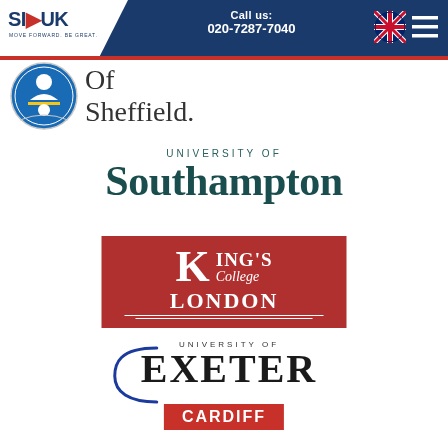SI-UK | Call us: 020-7287-7040
[Figure (logo): University of Sheffield crest logo with partial text 'Of Sheffield.']
[Figure (logo): University of Southampton logo in teal/dark teal text]
[Figure (logo): King's College London logo in white text on red/crimson background]
[Figure (logo): University of Exeter logo with blue curved swoosh element]
[Figure (logo): Cardiff University logo with red background, partially visible]